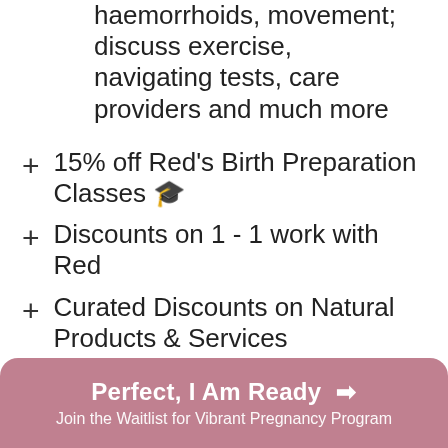haemorrhoids, movement; discuss exercise, navigating tests, care providers and much more
15% off Red's Birth Preparation Classes 🎓
Discounts on 1 - 1 work with Red
Curated Discounts on Natural Products & Services
Ongoing Access to Course Content & VP Community
Love Based Birth Hive Community Access
Perfect, I Am Ready  ➡️
Join the Waitlist for Vibrant Pregnancy Program